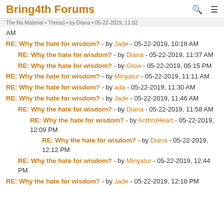Bring4th Forums
RE: Why the hate for wisdom? - by Jade - 05-22-2019, 10:18 AM
RE: Why the hate for wisdom? - by Diana - 05-22-2019, 11:37 AM
RE: Why the hate for wisdom? - by Glow - 05-22-2019, 05:15 PM
RE: Why the hate for wisdom? - by Minyatur - 05-22-2019, 11:11 AM
RE: Why the hate for wisdom? - by ada - 05-22-2019, 11:30 AM
RE: Why the hate for wisdom? - by Jade - 05-22-2019, 11:46 AM
RE: Why the hate for wisdom? - by Diana - 05-22-2019, 11:58 AM
RE: Why the hate for wisdom? - by AnthroHeart - 05-22-2019, 12:09 PM
RE: Why the hate for wisdom? - by Diana - 05-22-2019, 12:12 PM
RE: Why the hate for wisdom? - by Minyatur - 05-22-2019, 12:44 PM
RE: Why the hate for wisdom? - by Jade - 05-22-2019, 12:10 PM